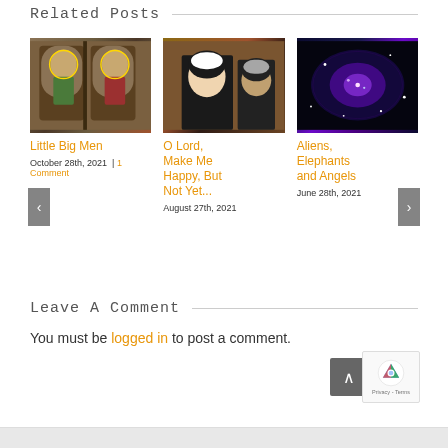Related Posts
[Figure (photo): Medieval painting of two saints with halos in arched frames (Byzantine/Gothic style)]
Little Big Men
October 28th, 2021 | 1 Comment
[Figure (photo): Two nuns in black habits, one young looking down, one older in background]
O Lord, Make Me Happy, But Not Yet...
August 27th, 2021
[Figure (photo): Nebula or star cluster in space with colorful clouds (astronomical image)]
Aliens, Elephants and Angels
June 28th, 2021
Leave A Comment
You must be logged in to post a comment.